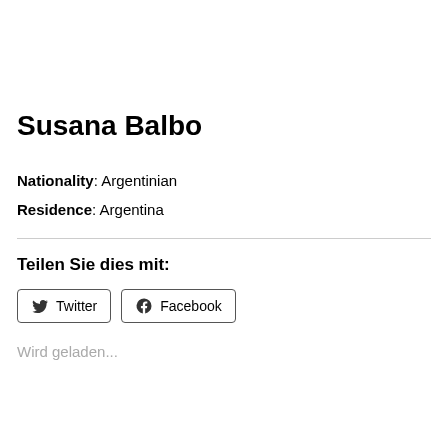Susana Balbo
Nationality: Argentinian
Residence: Argentina
Teilen Sie dies mit:
Twitter  Facebook
Wird geladen...